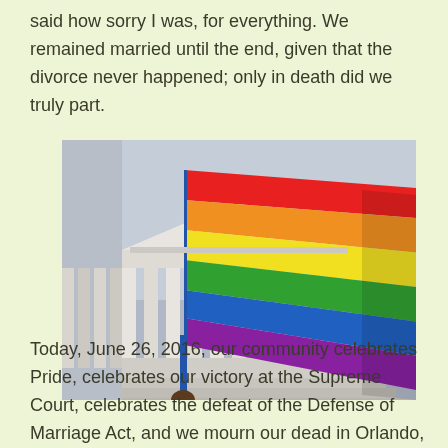said how sorry I was, for everything. We remained married until the end, given that the divorce never happened; only in death did we truly part.
[Figure (photo): A person holding a large rainbow Pride flag in front of what appears to be the U.S. Supreme Court building, with white columns visible in the background and an overcast sky.]
Today, June 26, 2016, our community celebrates Pride, celebrates our victory at the Supreme Court, celebrates the defeat of the Defense of Marriage Act, and we mourn our dead in Orlando,